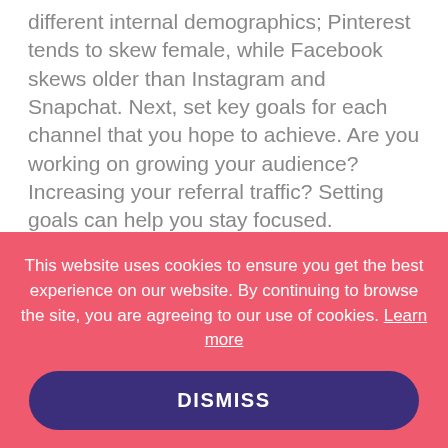different internal demographics; Pinterest tends to skew female, while Facebook skews older than Instagram and Snapchat. Next, set key goals for each channel that you hope to achieve. Are you working on growing your audience? Increasing your referral traffic? Setting goals can help you stay focused.
From there, it's important to devise a strategy that includes both organic and paid activity. Organic content is almost always more effective with a promotional budget behind it.
How do I pay for these tools?
[Figure (screenshot): Cookie consent banner overlay with pink/red background. Text: 'This website uses cookies to ensure you get the best experience on our website. By continuing to browse the site, you are agreeing to our use of cookies. Learn more'. A dark purple rounded button with 'DISMISS' text.]